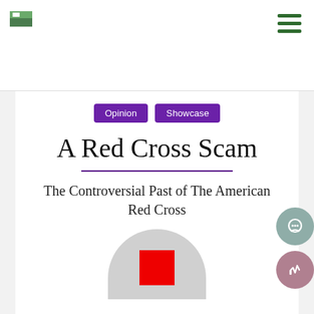[Logo] [Hamburger menu]
Opinion   Showcase
A Red Cross Scam
The Controversial Past of The American Red Cross
[Figure (illustration): Partial circle/logo image showing a red square (cross element) on a gray circular background, partially cropped at the bottom of the page.]